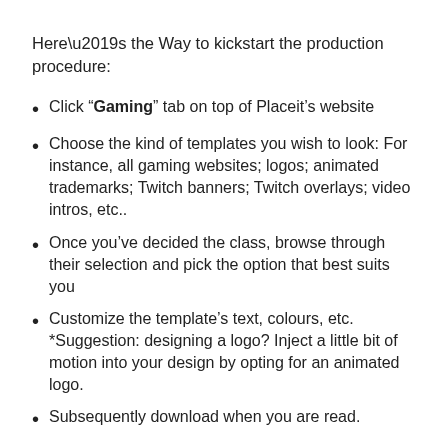Here’s the Way to kickstart the production procedure:
Click “Gaming” tab on top of Placeit’s website
Choose the kind of templates you wish to look: For instance, all gaming websites; logos; animated trademarks; Twitch banners; Twitch overlays; video intros, etc..
Once you’ve decided the class, browse through their selection and pick the option that best suits you
Customize the template’s text, colours, etc. *Suggestion: designing a logo? Inject a little bit of motion into your design by opting for an animated logo.
Subsequently download when you are read.